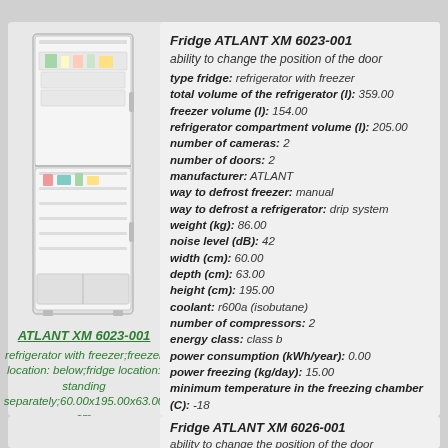[Figure (photo): Photo of ATLANT XM 6023-001 refrigerator with freezer, open door showing interior shelves and food]
ATLANT XM 6023-001
refrigerator with freezer;freezer location: below;fridge location: standing separately;60.00x195.00x63.00 cm
Fridge ATLANT XM 6023-001
ability to change the position of the door
type fridge: refrigerator with freezer
total volume of the refrigerator (l): 359.00
freezer volume (l): 154.00
refrigerator compartment volume (l): 205.00
number of cameras: 2
number of doors: 2
manufacturer: ATLANT
way to defrost freezer: manual
way to defrost a refrigerator: drip system
weight (kg): 86.00
noise level (dB): 42
width (cm): 60.00
depth (cm): 63.00
height (cm): 195.00
coolant: r600a (isobutane)
number of compressors: 2
energy class: class b
power consumption (kWh/year): 0.00
power freezing (kg/day): 15.00
minimum temperature in the freezing chamber (C): -18
additional options: super freezing
standalone cold preservation (h): 17
management: electromechanical
more information
Fridge ATLANT XM 6026-001
ability to change the position of the door